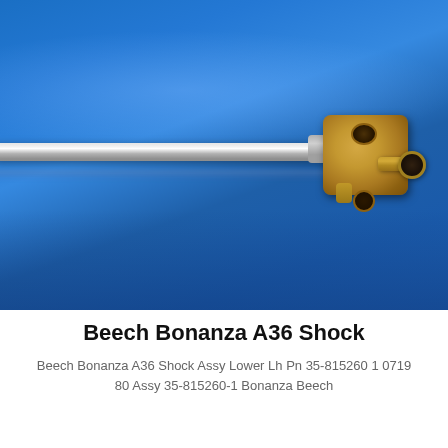[Figure (photo): A Beech Bonanza A36 shock assembly component photographed against a bright blue background. The part features a long chrome/silver tube on the left connected to a brass-colored metal assembly block on the right, with multiple ports and a side pipe.]
Beech Bonanza A36 Shock
Beech Bonanza A36 Shock Assy Lower Lh Pn 35-815260 1 0719 80 Assy 35-815260-1 Bonanza Beech